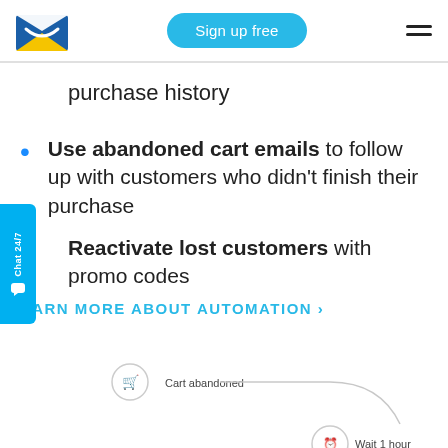Sign up free
purchase history
Use abandoned cart emails to follow up with customers who didn't finish their purchase
Reactivate lost customers with promo codes
LEARN MORE ABOUT AUTOMATION ›
[Figure (screenshot): Email automation workflow diagram showing 'Cart abandoned' trigger node, a wait connector, 'Wait 1 hour' step, and 'You left something' email preview]